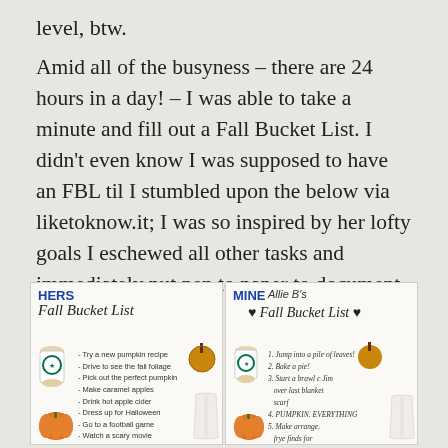level, btw.
Amid all of the busyness – there are 24 hours in a day! – I was able to take a minute and fill out a Fall Bucket List. I didn't even know I was supposed to have an FBL til I stumbled upon the below via liketoknow.it; I was so inspired by her lofty goals I eschewed all other tasks and immediately put pen to paper to document my own.
[Figure (illustration): Two side-by-side fall bucket list images. Left labeled HERS: 'Fall Bucket List' with items including Try a new pumpkin recipe, Drive to see the fall foliage, Pick out the perfect pumpkin, Make caramel apples, Drink hot apple cider, Dress up for Halloween, Go to a football game, Watch a scary movie, Carve a pumpkin, Go apple picking, Eat candy corn, Bake a pie, Tailgate. Decorated with Starbucks cup, pumpkin, caramel apple, white vest. Right labeled MINE: 'Allie B's Fall Bucket List' with handwritten items: 1. Jump into a pile of leaves!, 2. Bake a pie!, 3. Start a brawl e Jim over last blanket scarf, 4. PUMPKIN. EVERYTHING, 5. Make arrange. frye finds for tailgate party!]